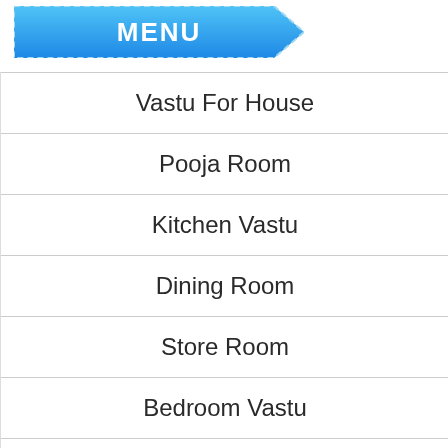MENU
Vastu For House
Pooja Room
Kitchen Vastu
Dining Room
Store Room
Bedroom Vastu
Children Bedroom
Living Room